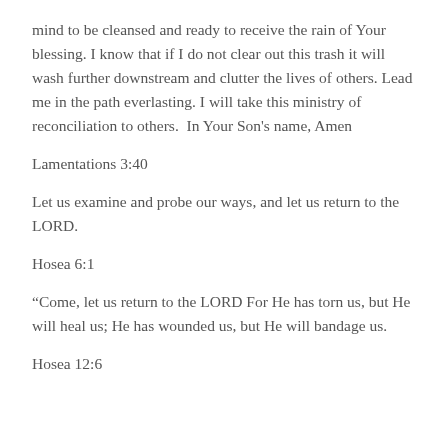mind to be cleansed and ready to receive the rain of Your blessing. I know that if I do not clear out this trash it will wash further downstream and clutter the lives of others. Lead me in the path everlasting. I will take this ministry of reconciliation to others.  In Your Son's name, Amen
Lamentations 3:40
Let us examine and probe our ways, and let us return to the LORD.
Hosea 6:1
“Come, let us return to the LORD For He has torn us, but He will heal us; He has wounded us, but He will bandage us.
Hosea 12:6